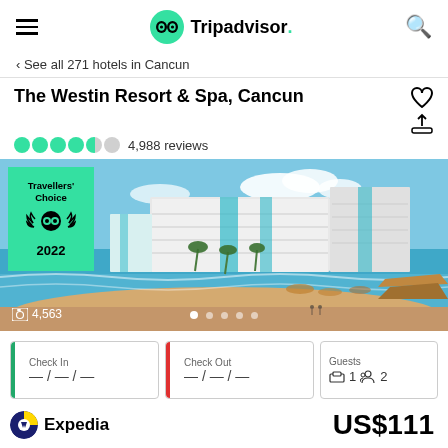Tripadvisor
< See all 271 hotels in Cancun
The Westin Resort & Spa, Cancun
4,988 reviews
[Figure (photo): Aerial/beach view of The Westin Resort & Spa Cancun with Travellers' Choice 2022 badge overlay. Photo count: 4,563.]
Check In — / — / —
Check Out — / — / —
Guests 1 room 2 persons
Expedia  US$111